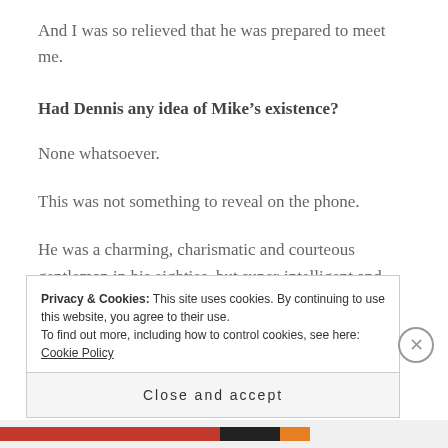And I was so relieved that he was prepared to meet me.
Had Dennis any idea of Mike’s existence?
None whatsoever.
This was not something to reveal on the phone.
He was a charming, charismatic and courteous gentleman in his eighties, but super-intelligent and sharp as the highest carat diamond.
Privacy & Cookies: This site uses cookies. By continuing to use this website, you agree to their use. To find out more, including how to control cookies, see here: Cookie Policy
Close and accept